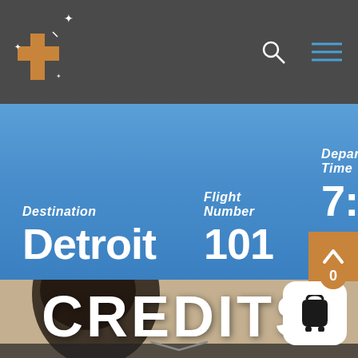[Figure (screenshot): Website header navigation bar with orange cross/plus logo on dark gray background, search icon and hamburger menu icon on the right]
[Figure (screenshot): Airport departure board showing: Destination - Detroit, Flight Number - 101, Departure Time - 7:15 pm on blue background]
[Figure (photo): Person with dark curly hair seen from behind/side angle, in a room with beige/tan walls]
Credits
[Figure (screenshot): Orange scroll-to-top arrow button on the right edge, and a shopping cart icon button with badge showing 0 in bottom right corner]